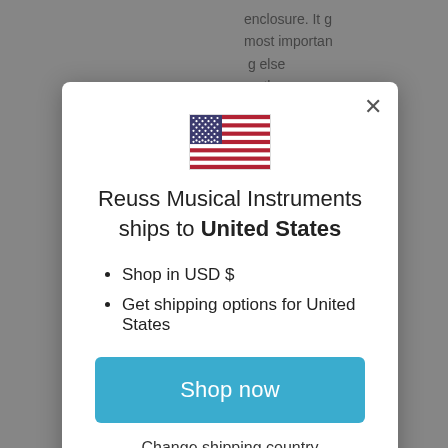[Figure (screenshot): Background webpage content partially visible behind modal overlay, showing text fragments about an enclosure, and a Reuss logo at the bottom right.]
[Figure (illustration): US flag icon displayed at the top center of modal dialog]
Reuss Musical Instruments ships to United States
Shop in USD $
Get shipping options for United States
Shop now
Change shipping country